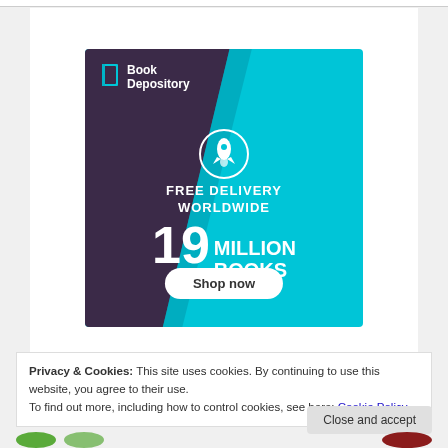[Figure (illustration): Book Depository advertisement banner. Dark purple/teal gradient background. Logo shows a book icon and text 'Book Depository'. Rocket ship icon above text 'FREE DELIVERY WORLDWIDE'. Large text '19 MILLION BOOKS'. White rounded 'Shop now' button at bottom.]
Privacy & Cookies: This site uses cookies. By continuing to use this website, you agree to their use.
To find out more, including how to control cookies, see here: Cookie Policy
Close and accept